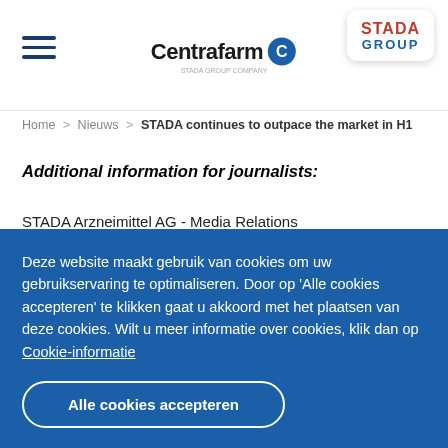Centrafarm | STADA GROUP
Home > Nieuws > STADA continues to outpace the market in H1
Additional information for journalists:
STADA Arzneimittel AG - Media Relations
Stadastrasse 2-18
61118 Bad Vilbel - Germany
Deze website maakt gebruik van cookies om uw gebruikservaring te optimaliseren. Door op 'Alle cookies accepteren' te klikken gaat u akkoord met het plaatsen van deze cookies. Wilt u meer informatie over cookies, klik dan op Cookie-informatie
Alle cookies accepteren